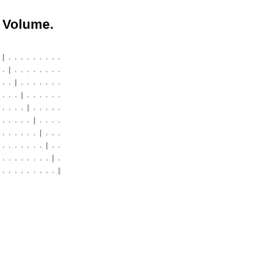Volume.
| . . . . . . . . .
. | . . . . . . . .
. . | . . . . . . .
. . . | . . . . . .
. . . . | . . . . .
. . . . . | . . . .
. . . . . . | . . .
. . . . . . . | . .
. . . . . . . . | .
. . . . . . . . . |